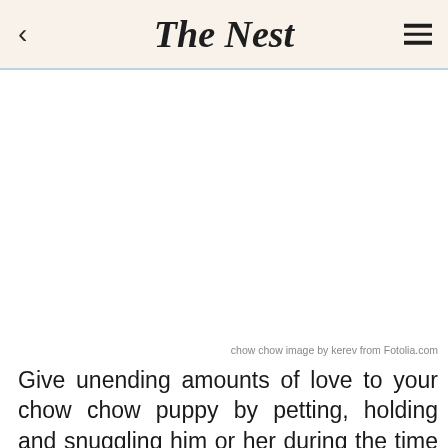The Nest
[Figure (photo): Blank white image area where a chow chow puppy photo would appear]
chow chow image by kerev from Fotolia.com
Give unending amounts of love to your chow chow puppy by petting, holding and snuggling him or her during the time period of adjusting to the new home.